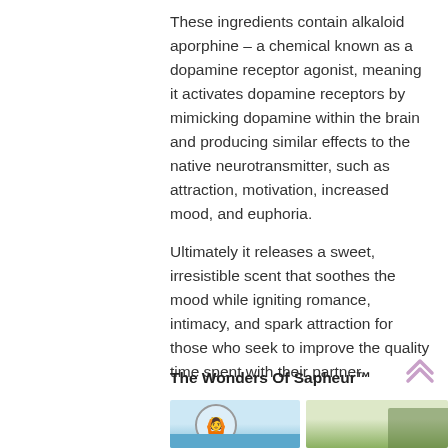These ingredients contain alkaloid aporphine – a chemical known as a dopamine receptor agonist, meaning it activates dopamine receptors by mimicking dopamine within the brain and producing similar effects to the native neurotransmitter, such as attraction, motivation, increased mood, and euphoria.
Ultimately it releases a sweet, irresistible scent that soothes the mood while igniting romance, intimacy, and spark attraction for those who seek to improve the quality time spent with their partner.
The Wonders Of Sapheur™
[Figure (photo): Two photos side by side: left shows a person with arms raised in a circular frame, right shows a couple near indoor plants.]